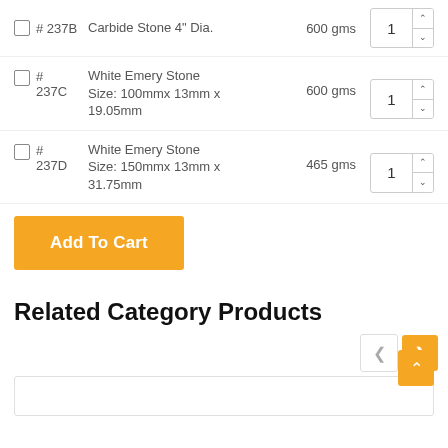# 237B Carbide Stone 4" Dia. 600 gms — qty: 1
# 237C White Emery Stone Size: 100mmx 13mm x 19.05mm 600 gms — qty: 1
# 237D White Emery Stone Size: 150mmx 13mm x 31.75mm 465 gms — qty: 1
Add To Cart
Related Category Products